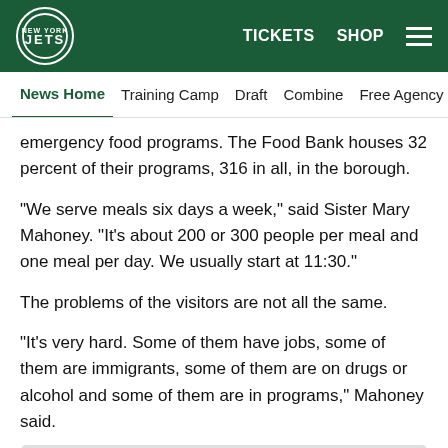Jets logo | TICKETS  SHOP  ☰
News Home  Training Camp  Draft  Combine  Free Agency  Fe…
emergency food programs. The Food Bank houses 32 percent of their programs, 316 in all, in the borough.
"We serve meals six days a week," said Sister Mary Mahoney. "It's about 200 or 300 people per meal and one meal per day. We usually start at 11:30."
The problems of the visitors are not all the same.
"It's very hard. Some of them have jobs, some of them are immigrants, some of them are on drugs or alcohol and some of them are in programs," Mahoney said.